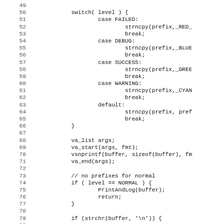[Figure (screenshot): Source code listing (C/C++) showing lines 49–81, a switch statement on 'level' with cases FAILED, DEBUG, SUCCESS, WARNING, and default, each calling strncpy on prefix, followed by va_list/va_start/vsnprintf/va_end calls, a normal-level check with PrintAndLog and return, a closing brace, and an if(strchr(buffer,'\n')) check.]